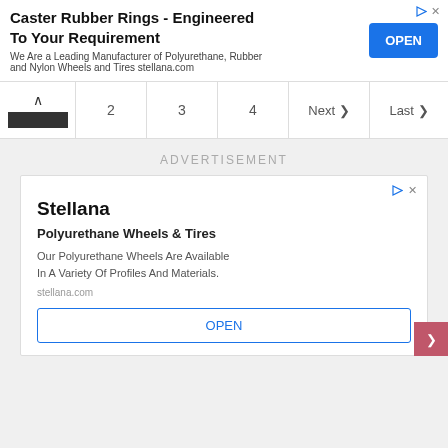[Figure (screenshot): Top banner advertisement for Caster Rubber Rings by Stellana with OPEN button]
[Figure (screenshot): Pagination bar showing page 1 active (arrow up), pages 2, 3, 4, Next, Last]
ADVERTISEMENT
[Figure (screenshot): Inner advertisement for Stellana - Polyurethane Wheels & Tires with OPEN button]